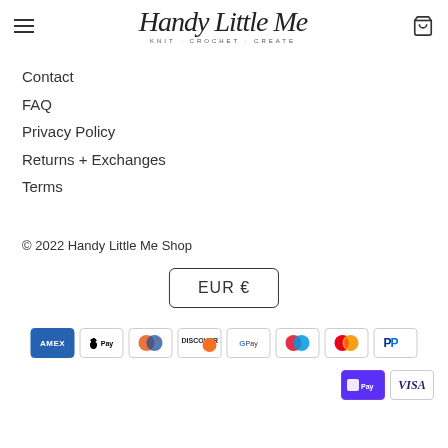Handy Little Me — KNIT · CROCHET · CREATE
Contact
FAQ
Privacy Policy
Returns + Exchanges
Terms
© 2022 Handy Little Me Shop
EUR €
[Figure (logo): Payment method icons: American Express, Apple Pay, Diners Club, Discover, Google Pay, Maestro, Mastercard, PayPal, Shop Pay, Visa]